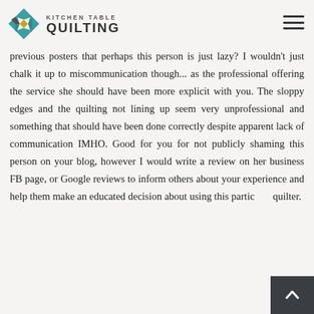KITCHEN TABLE QUILTING
experience sending my own personal quilts out to be longarmed and I have always seen amazing work done, nothing negative until this post. I agree with previous posters that perhaps this person is just lazy? I wouldn't just chalk it up to miscommunication though... as the professional offering the service she should have been more explicit with you. The sloppy edges and the quilting not lining up seem very unprofessional and something that should have been done correctly despite apparent lack of communication IMHO. Good for you for not publicly shaming this person on your blog, however I would write a review on her business FB page, or Google reviews to inform others about your experience and help them make an educated decision about using this particular quilter.